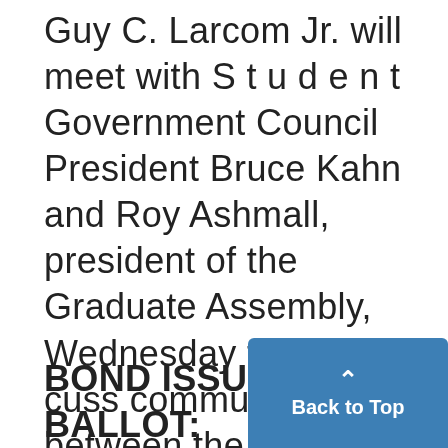Guy C. Larcom Jr. will meet with S t u d e n t Government Council President Bruce Kahn and Roy Ashmall, president of the Graduate Assembly, Wednesday to discuss communication between the city and University students. The City Council authorized the project at Monday night's meeting. "The students need a closer link with city government as opposed to a link between the University
BOND ISSUE ALSO ON BALLOT: